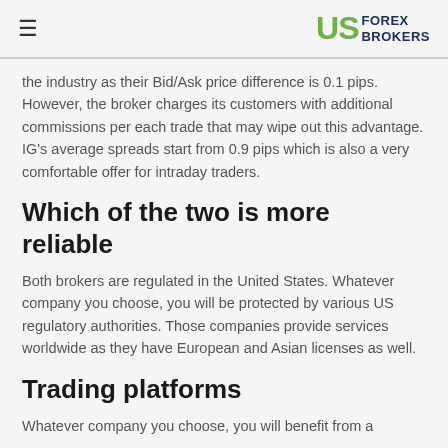US FOREX BROKERS
the industry as their Bid/Ask price difference is 0.1 pips. However, the broker charges its customers with additional commissions per each trade that may wipe out this advantage. IG's average spreads start from 0.9 pips which is also a very comfortable offer for intraday traders.
Which of the two is more reliable
Both brokers are regulated in the United States. Whatever company you choose, you will be protected by various US regulatory authorities. Those companies provide services worldwide as they have European and Asian licenses as well.
Trading platforms
Whatever company you choose, you will benefit from a